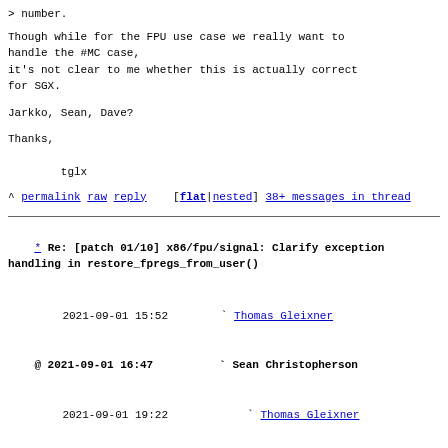> number.
Though while for the FPU use case we really want to handle the #MC case,
it's not clear to me whether this is actually correct for SGX.
Jarkko, Sean, Dave?
Thanks,

        tglx
^ permalink raw reply    [flat|nested] 38+ messages in thread
* Re: [patch 01/10] x86/fpu/signal: Clarify exception handling in restore_fpregs_from_user()
  2021-09-01 15:52        ` Thomas Gleixner
@ 2021-09-01 16:47          ` Sean Christopherson
  2021-09-01 19:22            ` Thomas Gleixner
                              ` (2 more replies)
  0 siblings, 3 replies; 38+ messages in thread
From: Sean Christopherson @ 2021-09-01 16:47 UTC
(permalink / raw)
  To: Thomas Gleixner
  Cc: Linus Torvalds, Al Viro, Dan Williams, Borislav Petkov, LKML,
        the arch/x86 maintainers, Jarkko Sakkinen, Dave
Hanson